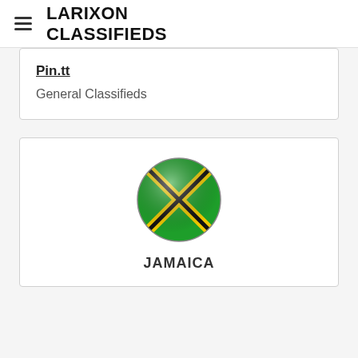LARIXON CLASSIFIEDS
Pin.tt
General Classifieds
[Figure (illustration): Circular Jamaica flag icon with green, black, and yellow X-cross design, rendered as a glossy sphere]
JAMAICA